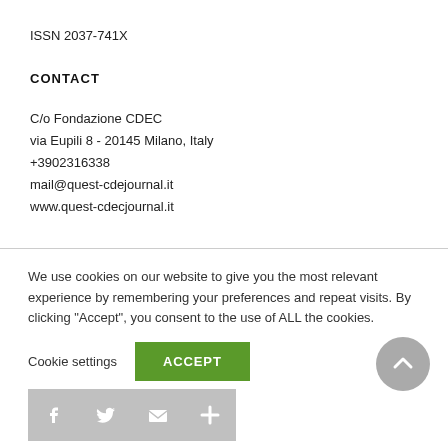ISSN 2037-741X
CONTACT
C/o Fondazione CDEC
via Eupili 8 - 20145 Milano, Italy
+3902316338
mail@quest-cdejournal.it
www.quest-cdecjournal.it
We use cookies on our website to give you the most relevant experience by remembering your preferences and repeat visits. By clicking "Accept", you consent to the use of ALL the cookies.
Cookie settings
ACCEPT